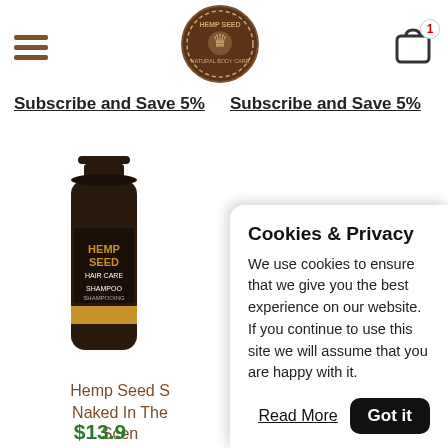Hemp Seed Natural Body Care - navigation header with hamburger menu, logo, and cart (1 item)
Subscribe and Save 5%
Subscribe and Save 5%
[Figure (photo): Hemp Seed Hair Care Shampoo dark bottle with gold label]
Hemp Seed S... Naked In The... Scen...
$13.9...
[Figure (photo): Hemp Seed lip balm product box in brown and green packaging]
Cookies & Privacy
We use cookies to ensure that we give you the best experience on our website. If you continue to use this site we will assume that you are happy with it.
Read More
Got it
ADD TO CART